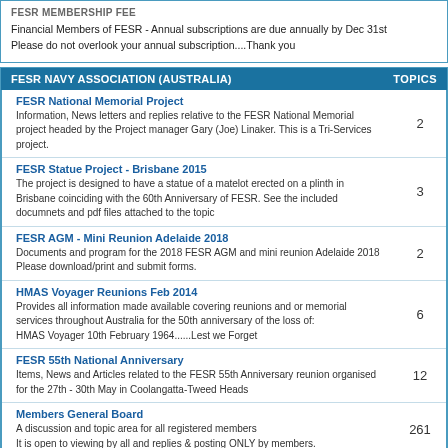Financial Members of FESR - Annual subscriptions are due annually by Dec 31st
Please do not overlook your annual subscription....Thank you
FESR NAVY ASSOCIATION (AUSTRALIA)    TOPICS
| Topic | Topics |
| --- | --- |
| FESR National Memorial Project
Information, News letters and replies relative to the FESR National Memorial project headed by the Project manager Gary (Joe) Linaker. This is a Tri-Services project. | 2 |
| FESR Statue Project - Brisbane 2015
The project is designed to have a statue of a matelot erected on a plinth in Brisbane coinciding with the 60th Anniversary of FESR. See the included documnets and pdf files attached to the topic | 3 |
| FESR AGM - Mini Reunion Adelaide 2018
Documents and program for the 2018 FESR AGM and mini reunion Adelaide 2018
Please download/print and submit forms. | 2 |
| HMAS Voyager Reunions Feb 2014
Provides all information made available covering reunions and or memorial services throughout Australia for the 50th anniversary of the loss of:
HMAS Voyager 10th February 1964......Lest we Forget | 6 |
| FESR 55th National Anniversary
Items, News and Articles related to the FESR 55th Anniversary reunion organised for the 27th - 30th May in Coolangatta-Tweed Heads | 12 |
| Members General Board
A discussion and topic area for all registered members
It is open to viewing by all and replies & posting ONLY by members. | 261 |